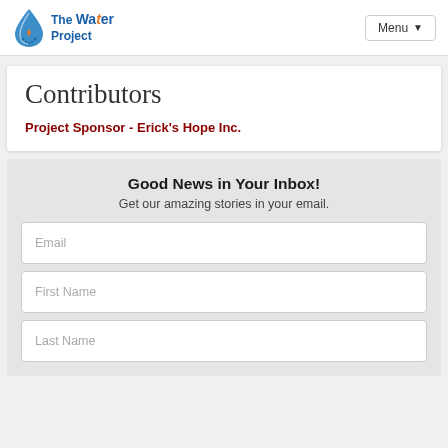[Figure (logo): The Water Project logo with blue water drop and text]
Menu ▾
Contributors
Project Sponsor - Erick's Hope Inc.
Good News in Your Inbox!
Get our amazing stories in your email.
Email
First Name
Last Name